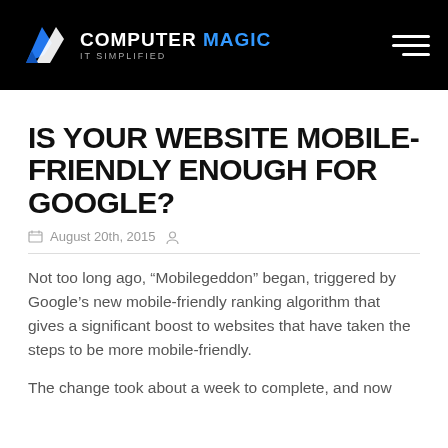COMPUTER MAGIC IT SIMPLIFIED
IS YOUR WEBSITE MOBILE-FRIENDLY ENOUGH FOR GOOGLE?
August 20th, 2015
Not too long ago, “Mobilegeddon” began, triggered by Google’s new mobile-friendly ranking algorithm that gives a significant boost to websites that have taken the steps to be more mobile-friendly.
The change took about a week to complete, and now